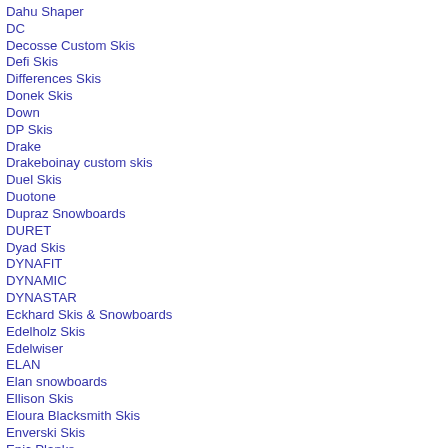Dahu Shaper
DC
Decosse Custom Skis
Defi Skis
Differences Skis
Donek Skis
Down
DP Skis
Drake
Drakeboinay custom skis
Duel Skis
Duotone
Dupraz Snowboards
DURET
Dyad Skis
DYNAFIT
DYNAMIC
DYNASTAR
Eckhard Skis & Snowboards
Edelholz Skis
Edelwiser
ELAN
Elan snowboards
Ellison Skis
Eloura Blacksmith Skis
Enverski Skis
Epic Planks
EPIK
Erbacher Skis
Evolution Skis
Explosivski
EXTREM